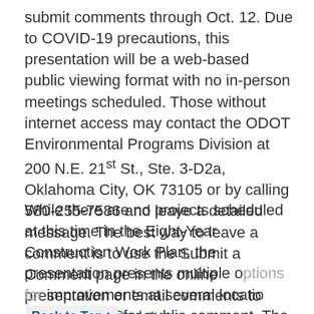submit comments through Oct. 12. Due to COVID-19 precautions, this presentation will be a web-based public viewing format with no in-person meetings scheduled. Those without internet access may contact the ODOT Environmental Programs Division at 200 N.E. 21st St., Ste. 3-D2a, Oklahoma City, OK 73105 or by calling 580-255-7586 and leave a detailed message. The best way to leave a comment is to use the Submit a Comment page in the online presentation or email comments to environment@odot.org.
While there are no projects scheduled at this time in the Eight-Year Construction Work Plan, the presentation presents multiple options for improvements at several locations and is open for public comment. The department is seeking comments relative to all social, economic and environmental effects of these proposed interim